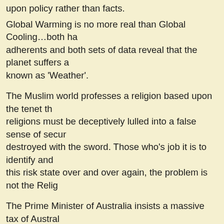upon policy rather than facts.
Global Warming is no more real than Global Cooling…both ha… adherents and both sets of data reveal that the planet suffers a… known as 'Weather'.
The Muslim world professes a religion based upon the tenet th… religions must be deceptively lulled into a false sense of secur… destroyed with the sword. Those who's job it is to identify and … this risk state over and over again, the problem is not the Relig…
The Prime Minister of Australia insists a massive tax of Austral… must be paid to European Banks to counter the global impacts… atmospheric carbon. The obvious reality is that this tax is inter… Australia dependent upon European Bankers and cause them… to the wealth of foreigners. She says nothing about the inevita… consequence of Australian national economic weakness. War.
Because nations in the 'nominal west' have sold their moral fib… for the sake of having poofter Prime Ministers and poofter prid… in the streets of Jerusalem, God is content to permit these wic… destroy each other. It may be that the odd catastrophe will stri… obliterate the odd thousands, or millions but the bulk of the im… tsunami of death descending upon mankind with be the fruits o… labours.
At the first opportunity, the subtly 'mad mullahs' will fire off the… nuclear or medically lethal. Typical responses will be explaine…